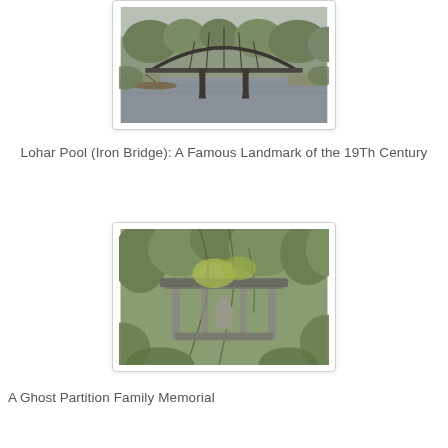[Figure (photo): An old iron bridge (Lohar Pool) over a river, with metal arch and support structure, a boat visible in the water, surrounded by greenery on an overcast day.]
Lohar Pool (Iron Bridge): A Famous Landmark of the 19Th Century
[Figure (photo): An overgrown old shrine or temple structure with a stone canopy and statue, surrounded by dense tropical vegetation and hanging vines.]
A Ghost Partition Family Memorial